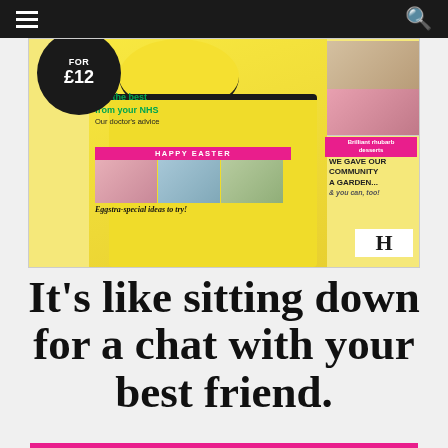Navigation bar with hamburger menu and search icon
[Figure (photo): Magazine cover showing a woman in a yellow dress, with Easter-themed images, NHS article teaser, rhubarb desserts, and community garden feature. Black circular badge shows 'FOR £12'. HAPPY EASTER banner with Easter photos. Tagline: Eggstra-special ideas to try!]
It’s like sitting down for a chat with your best friend.